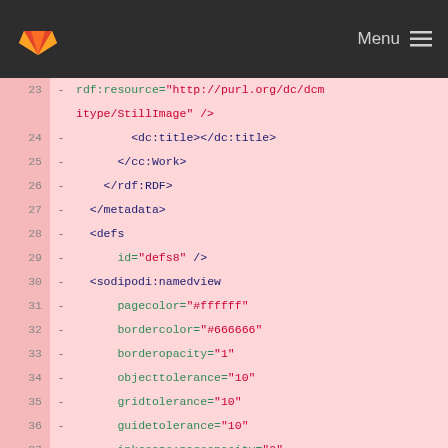GitLab logo | Menu
[Figure (screenshot): Code diff view showing XML/SVG file lines 23-40 with line numbers, diff markers, and syntax-highlighted code on a pink background]
23    -    rdf:resource="http://purl.org/dc/dcmitype/StillImage" />
24    -          <dc:title></dc:title>
25    -        </cc:Work>
26    -      </rdf:RDF>
27    -    </metadata>
28    -    <defs
29    -        id="defs8" />
30    -    <sodipodi:namedview
31    -        pagecolor="#ffffff"
32    -        bordercolor="#666666"
33    -        borderopacity="1"
34    -        objecttolerance="10"
35    -        gridtolerance="10"
36    -        guidetolerance="10"
37    -        inkscape:pageopacity="0"
38    -        inkscape:pageshadow="2"
39    -        inkscape:window-width="1672"
40    -        inkscape:window-height="1132"